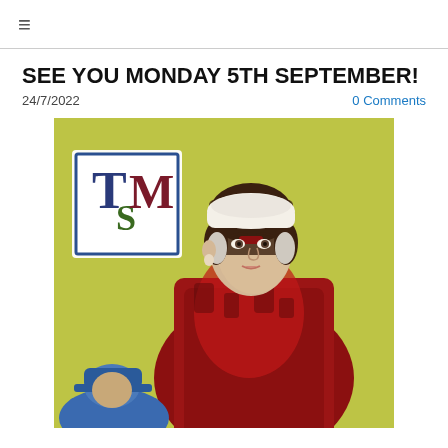≡
SEE YOU MONDAY 5TH SEPTEMBER!
24/7/2022
0 Comments
[Figure (photo): Colorized historical portrait of Florence Nightingale in a red dress against a yellow-green background, with a TSM logo (letters T, S, M in a bordered box) overlaid in the upper left corner. A figure in blue is partially visible at the bottom.]